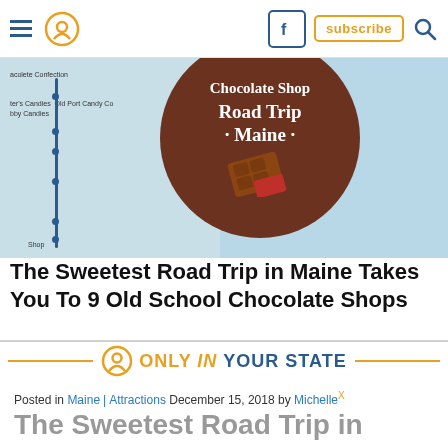Navigation bar with hamburger menu, location pin icon, Facebook icon, subscribe button, and search icon
[Figure (photo): Hero image showing a map of Maine coastal area with candy/chocolate shop locations marked, overlaid with a large brown circle containing text 'Chocolate Shop Road Trip Maine' and a chocolate bar graphic]
The Sweetest Road Trip in Maine Takes You To 9 Old School Chocolate Shops
[Figure (logo): Only In Your State logo with location pin icon, orange and blue text reading ONLY IN YOUR STATE, flanked by orange horizontal lines]
Posted in Maine | Attractions December 15, 2018 by Michelle
The Sweetest Road Trip in Maine Takes You To 9 Old School Chocolate Shops